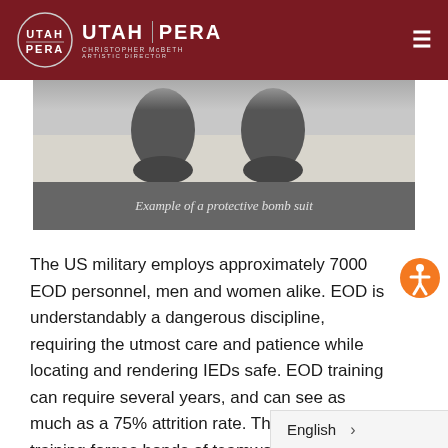UTAH PERA — CHRISTOPHER McBETH ARTISTIC DIRECTOR
[Figure (photo): Partial image showing feet/lower body in a protective bomb suit, viewed from above on a light floor surface]
Example of a protective bomb suit
The US military employs approximately 7000 EOD personnel, men and women alike. EOD is understandably a dangerous discipline, requiring the utmost care and patience while locating and rendering IEDs safe. EOD training can require several years, and can see as much as a 75% attrition rate. The intensive training forges bonds of teamwork and dedication that are essential to mission success. More than 20 Air Force EOD personnel have lost